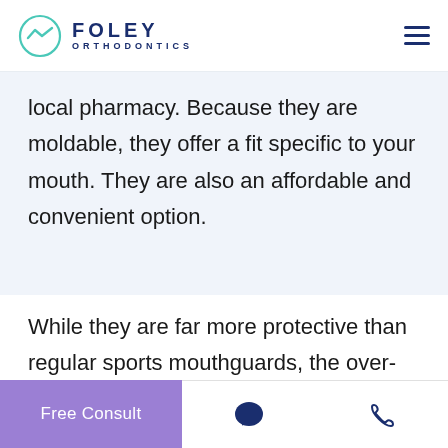Foley Orthodontics
local pharmacy. Because they are moldable, they offer a fit specific to your mouth. They are also an affordable and convenient option.
While they are far more protective than regular sports mouthguards, the over-the-
Free Consult